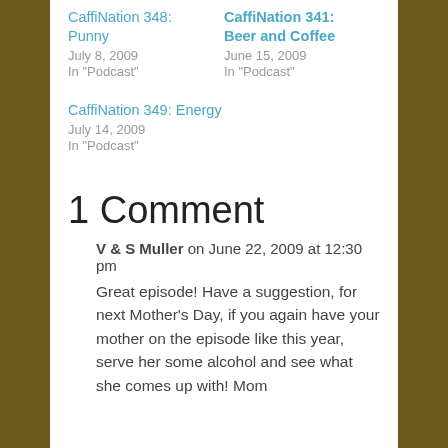CaffiNation 348: Punny
July 8, 2009
In "Podcast"
CaffiNation 341: Beer and Coffee
June 15, 2009
In "Podcast"
CaffiNation 349: Energy
July 14, 2009
In "Podcast"
1 Comment
V & S Muller on June 22, 2009 at 12:30 pm
Great episode! Have a suggestion, for next Mother's Day, if you again have your mother on the episode like this year, serve her some alcohol and see what she comes up with! Mom